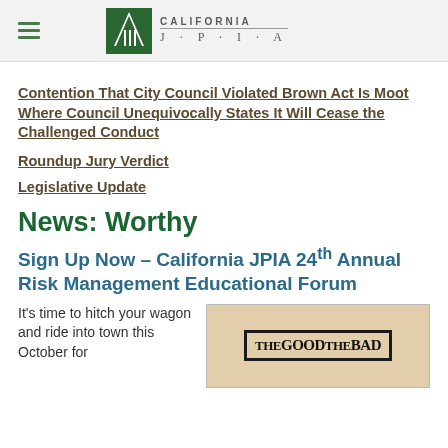California JPIA
Contention That City Council Violated Brown Act Is Moot Where Council Unequivocally States It Will Cease the Challenged Conduct
Roundup Jury Verdict
Legislative Update
News: Worthy
Sign Up Now – California JPIA 24th Annual Risk Management Educational Forum
It's time to hitch your wagon and ride into town this October for
[Figure (illustration): Styled western-theme image with text 'THE GOOD THE BAD' in bold serif font on aged paper background with decorative border]